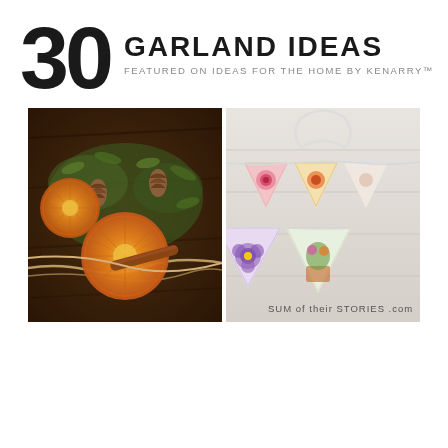30 GARLAND IDEAS FEATURED ON IDEAS FOR THE HOME BY KENARRY™
[Figure (photo): Two side-by-side photos: left shows dried orange slices and cinnamon sticks garland on dark wood background with twine; right shows floral bunting/pennant flag garland on white wood background with 'Sum of their Stories .com' watermark]
[Figure (other): Walgreens Photo advertisement banner with Walgreens cursive W logo, location Ashburn, OPEN 8AM-10PM, and navigation arrow icon]